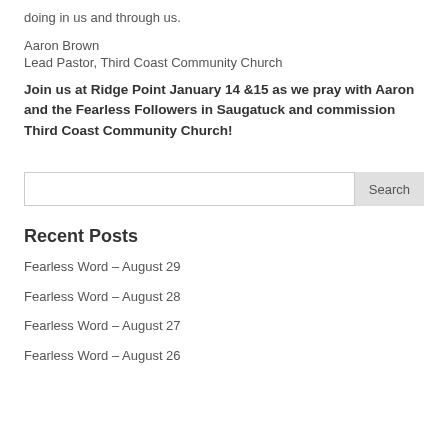doing in us and through us.
Aaron Brown
Lead Pastor, Third Coast Community Church
Join us at Ridge Point January 14 &15 as we pray with Aaron and the Fearless Followers in Saugatuck and commission Third Coast Community Church!
Search
Recent Posts
Fearless Word – August 29
Fearless Word – August 28
Fearless Word – August 27
Fearless Word – August 26